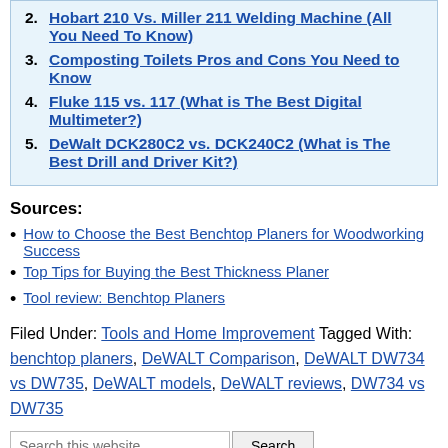Hobart 210 Vs. Miller 211 Welding Machine (All You Need To Know)
Composting Toilets Pros and Cons You Need to Know
Fluke 115 vs. 117 (What is The Best Digital Multimeter?)
DeWalt DCK280C2 vs. DCK240C2 (What is The Best Drill and Driver Kit?)
Sources:
How to Choose the Best Benchtop Planers for Woodworking Success
Top Tips for Buying the Best Thickness Planer
Tool review: Benchtop Planers
Filed Under: Tools and Home Improvement Tagged With: benchtop planers, DeWALT Comparison, DeWALT DW734 vs DW735, DeWALT models, DeWALT reviews, DW734 vs DW735